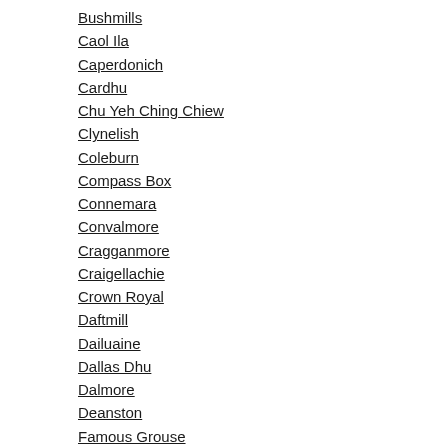Bushmills
Caol Ila
Caperdonich
Cardhu
Chu Yeh Ching Chiew
Clynelish
Coleburn
Compass Box
Connemara
Convalmore
Cragganmore
Craigellachie
Crown Royal
Daftmill
Dailuaine
Dallas Dhu
Dalmore
Deanston
Famous Grouse